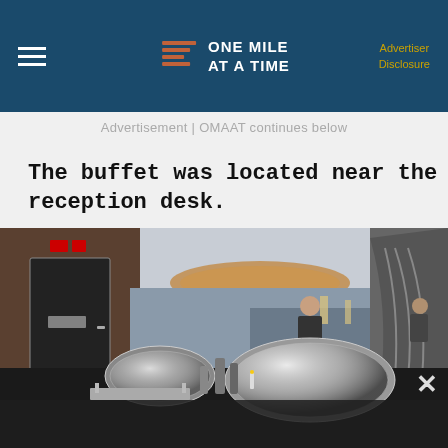ONE MILE AT A TIME | Advertiser Disclosure
Advertisement | OMAAT continues below
The buffet was located near the reception desk.
[Figure (photo): Interior photo of a hotel or airline lounge buffet area. Silver dome-covered chafing dishes are visible in the foreground on a dark counter. In the background, a person stands behind a reception desk with lamps and a computer screen. The ceiling has a round amber-lit feature. A black door is on the left wall. A close/X button is visible at lower right.]